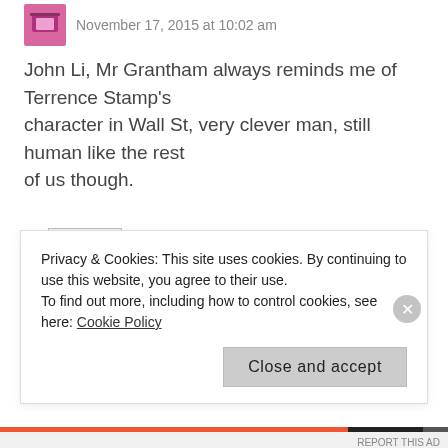November 17, 2015 at 10:02 am
John Li, Mr Grantham always reminds me of Terrence Stamp's character in Wall St, very clever man, still human like the rest of us though.
REPLY
Mark says: November 17, 2015 at 12:17 pm
Privacy & Cookies: This site uses cookies. By continuing to use this website, you agree to their use. To find out more, including how to control cookies, see here: Cookie Policy
Close and accept